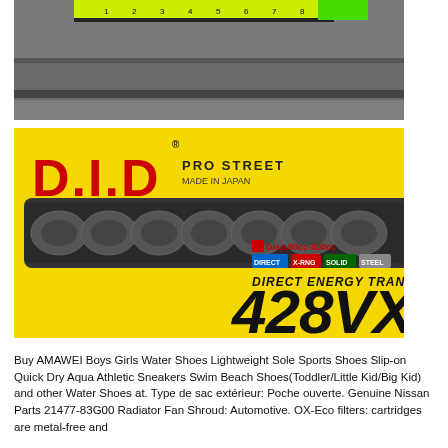[Figure (photo): Photo of a metal surface with a yellow-green measuring tape/ruler visible at the top, showing a grey metal workbench or shelf.]
[Figure (photo): Photo of a D.I.D Pro Street 428VX motorcycle chain product box. Yellow box with red D.I.D logo, showing a bicycle/motorcycle chain, text reading PRO STREET, MADE IN JAPAN, DIRECT ENERGY TRANSFER, 428VX, Disp.80cc-400cc, DIRECT, X-RING, SOLID, STEEL labels.]
Buy AMAWEI Boys Girls Water Shoes Lightweight Sole Sports Shoes Slip-on Quick Dry Aqua Athletic Sneakers Swim Beach Shoes(Toddler/Little Kid/Big Kid) and other Water Shoes at. Type de sac extérieur: Poche ouverte. Genuine Nissan Parts 21477-83G00 Radiator Fan Shroud: Automotive. OX-Eco filters: cartridges are metal-free and